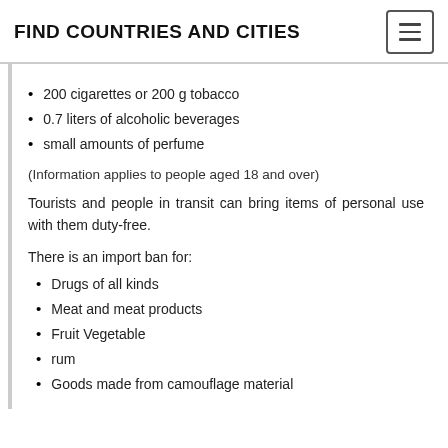FIND COUNTRIES AND CITIES
200 cigarettes or 200 g tobacco
0.7 liters of alcoholic beverages
small amounts of perfume
(Information applies to people aged 18 and over)
Tourists and people in transit can bring items of personal use with them duty-free.
There is an import ban for:
Drugs of all kinds
Meat and meat products
Fruit Vegetable
rum
Goods made from camouflage material